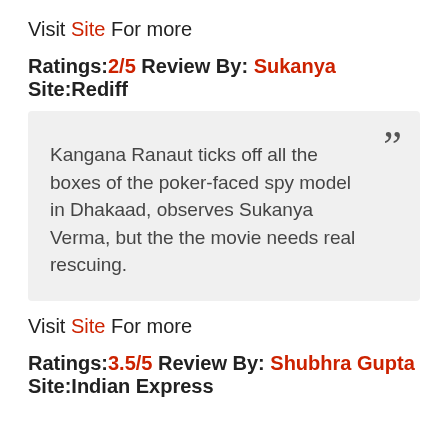Visit Site For more
Ratings:2/5 Review By: Sukanya Site:Rediff
Kangana Ranaut ticks off all the boxes of the poker-faced spy model in Dhakaad, observes Sukanya Verma, but the the movie needs real rescuing.
Visit Site For more
Ratings:3.5/5 Review By: Shubhra Gupta Site:Indian Express